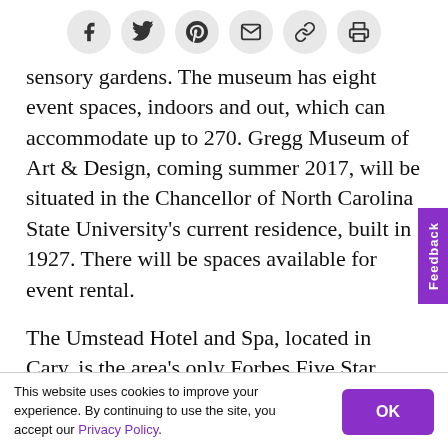[Figure (other): Social share bar with icons for Facebook, Twitter, Pinterest, Email, Link, and Print]
sensory gardens. The museum has eight event spaces, indoors and out, which can accommodate up to 270. Gregg Museum of Art & Design, coming summer 2017, will be situated in the Chancellor of North Carolina State University's current residence, built in 1927. There will be spaces available for event rental.
The Umstead Hotel and Spa, located in Cary, is the area's only Forbes Five Star hotel. It completed a $3 million renovation of its 10,000 sq. ft. of meeting space in September, including advanced A/V equipment and new carpeting. Most rooms boast
This website uses cookies to improve your experience. By continuing to use the site, you accept our Privacy Policy.